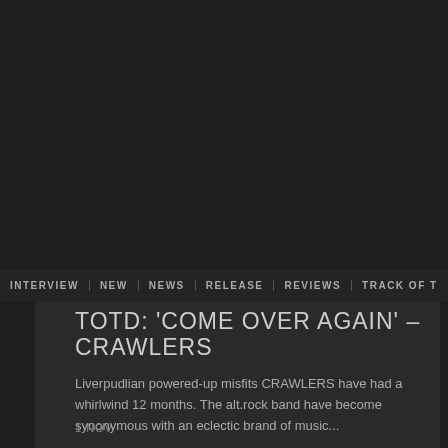[Figure (photo): Dark image area at the top of the page, appears to be a photo with very dark/low exposure]
INTERVIEW  NEW  NEWS  RELEASE  REVIEWS  TRACK OF T
TOTD: 'COME OVER AGAIN' – CRAWLERS
Liverpudlian powered-up misfits CRAWLERS have had a whirlwind 12 months. The alt.rock band have become synonymous with an eclectic brand of music...
1 NOV